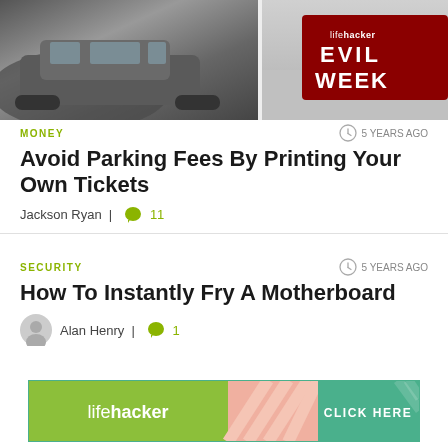[Figure (screenshot): Cars parked in a parking lot on the left side, and a wintry street scene on the right with a dark red 'lifehacker EVIL WEEK' badge overlaid in the top right corner]
MONEY
5 YEARS AGO
Avoid Parking Fees By Printing Your Own Tickets
Jackson Ryan  |  11
SECURITY
5 YEARS AGO
How To Instantly Fry A Motherboard
Alan Henry  |  1
[Figure (screenshot): Lifehacker advertisement banner with green background, diagonal striped middle section, and teal 'CLICK HERE' button on the right]